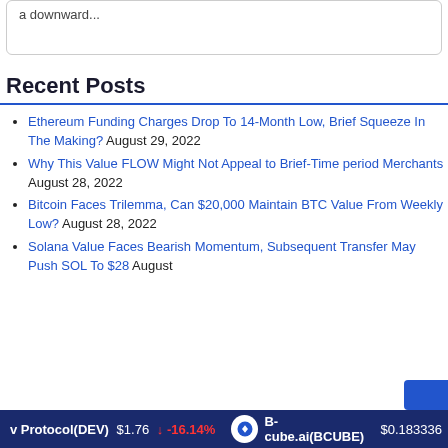a downward...
Recent Posts
Ethereum Funding Charges Drop To 14-Month Low, Brief Squeeze In The Making? August 29, 2022
Why This Value FLOW Might Not Appeal to Brief-Time period Merchants August 28, 2022
Bitcoin Faces Trilemma, Can $20,000 Maintain BTC Value From Weekly Low? August 28, 2022
Solana Value Faces Bearish Momentum, Subsequent Transfer May Push SOL To $28 August
v Protocol(DEV) $1.76 ↓ -16.14%   B-cube.ai(BCUBE) $0.183336